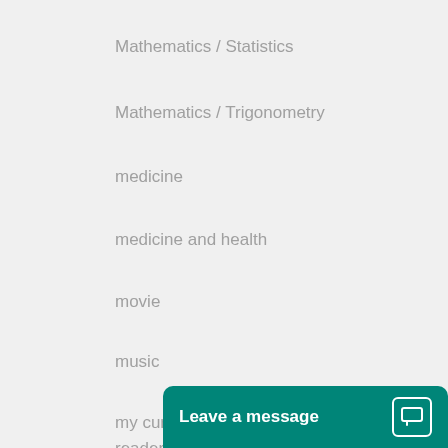Mathematics / Statistics
Mathematics / Trigonometry
medicine
medicine and health
movie
music
my current job has a palm reader as well as physical security to even get to the area where you would need to access any type of computer and access control. Second
MyDoom